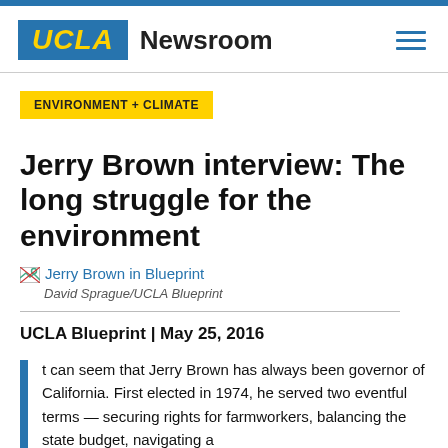UCLA Newsroom
ENVIRONMENT + CLIMATE
Jerry Brown interview: The long struggle for the environment
[Figure (photo): Jerry Brown in Blueprint — image link placeholder with broken image icon]
David Sprague/UCLA Blueprint
UCLA Blueprint | May 25, 2016
t can seem that Jerry Brown has always been governor of California. First elected in 1974, he served two eventful terms — securing rights for farmworkers, balancing the state budget, navigating a